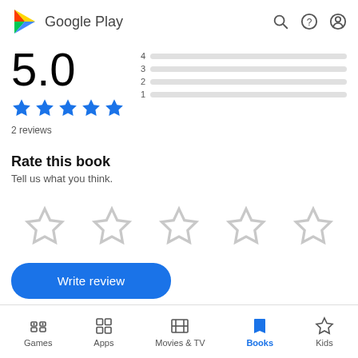[Figure (logo): Google Play logo with colored triangle icon and 'Google Play' text, plus search, help, and account icons on the right]
[Figure (infographic): Rating display: 5.0 large number, 5 blue stars, rating bars for levels 4, 3, 2, 1 (all empty/grey)]
2 reviews
Rate this book
Tell us what you think.
[Figure (other): 5 light grey outline star icons for user rating input]
[Figure (other): Write review button - blue rounded rectangle with white text 'Write review']
Games  Apps  Movies & TV  Books  Kids